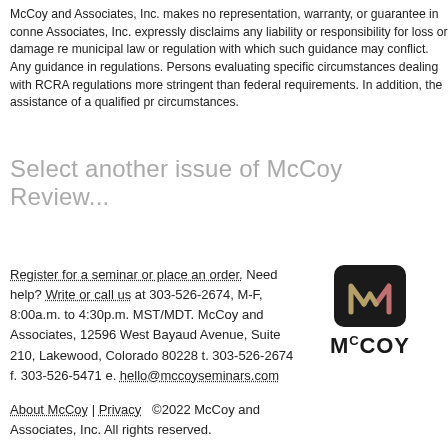McCoy and Associates, Inc. makes no representation, warranty, or guarantee in conne Associates, Inc. expressly disclaims any liability or responsibility for loss or damage re municipal law or regulation with which such guidance may conflict. Any guidance in regulations. Persons evaluating specific circumstances dealing with RCRA regulations more stringent than federal requirements. In addition, the assistance of a qualified pr circumstances.
Select another issue of McCoy Review...
Register for a seminar or place an order. Need help? Write or call us at 303-526-2674, M-F, 8:00a.m. to 4:30p.m. MST/MDT. McCoy and Associates, 12596 West Bayaud Avenue, Suite 210, Lakewood, Colorado 80228 t. 303-526-2674 f. 303-526-5471 e. hello@mccoyseminars.com
[Figure (logo): McCoy and Associates logo: dark square with stylized M mark in olive/pink colors, text McCOY with superscript C]
About McCoy | Privacy   ©2022 McCoy and Associates, Inc. All rights reserved.